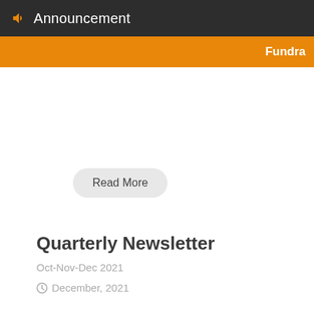Announcement
Fundra
Read More
Quarterly Newsletter
Oct-Nov-Dec 2021
December, 2021